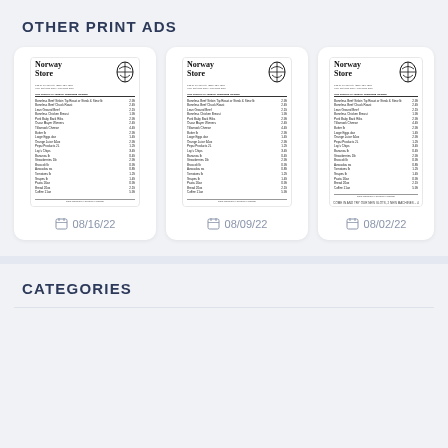OTHER PRINT ADS
[Figure (screenshot): Norway Store newspaper advertisement showing grocery items and 'PLAY SLOTS' banner, dated 08/16/22]
08/16/22
[Figure (screenshot): Norway Store newspaper advertisement showing grocery items and 'PLAY SLOTS' banner, dated 08/09/22]
08/09/22
[Figure (screenshot): Norway Store newspaper advertisement showing grocery items and 'PLAY SLOTS' banner, dated 08/02/22]
08/02/22
CATEGORIES